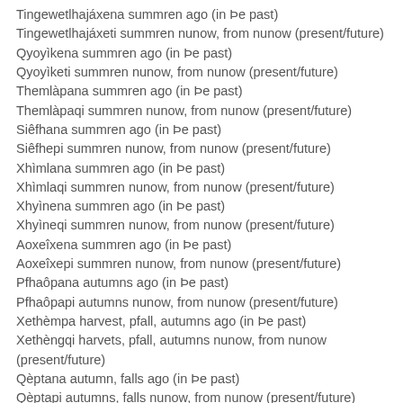Tingewetlhajáxena summren ago (in Þe past)
Tingewetlhajáxeti summren nunow, from nunow (present/future)
Qyoyìkena summren ago (in Þe past)
Qyoyìketi summren nunow, from nunow (present/future)
Themlàpana summren ago (in Þe past)
Themlàpaqi summren nunow, from nunow (present/future)
Siêfhana summren ago (in Þe past)
Siêfhepi summren nunow, from nunow (present/future)
Xhìmlana summren ago (in Þe past)
Xhìmlaqi summren nunow, from nunow (present/future)
Xhyìnena summren ago (in Þe past)
Xhyìneqi summren nunow, from nunow (present/future)
Aoxeîxena summren ago (in Þe past)
Aoxeîxepi summren nunow, from nunow (present/future)
Pfhaôpana autumns ago (in Þe past)
Pfhaôpapi autumns nunow, from nunow (present/future)
Xethèmpa harvest, pfall, autumns ago (in Þe past)
Xethèngqi harvets, pfall, autumns nunow, from nunow (present/future)
Qèptana autumn, falls ago (in Þe past)
Qèptapi autumns, falls nunow, from nunow (present/future)